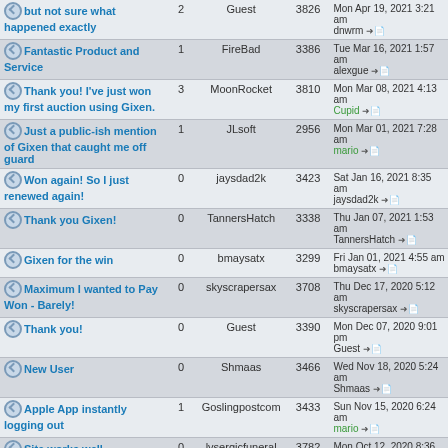| Topic | Replies | Author | Views | Last Post |
| --- | --- | --- | --- | --- |
| but not sure what happened exactly | 2 | Guest | 3826 | Mon Apr 19, 2021 3:21 am
dnwrm |
| Fantastic Product and Service | 1 | FireBad | 3386 | Tue Mar 16, 2021 1:57 am
alexgue |
| Thank you! I've just won my first auction using Gixen. | 3 | MoonRocket | 3810 | Mon Mar 08, 2021 4:13 am
Cupid |
| Just a public-ish mention of Gixen that caught me off guard | 1 | JLsoft | 2956 | Mon Mar 01, 2021 7:28 am
mario |
| Won again! So I just renewed again! | 0 | jaysdad2k | 3423 | Sat Jan 16, 2021 8:35 am
jaysdad2k |
| Thank you Gixen! | 0 | TannersHatch | 3338 | Thu Jan 07, 2021 1:53 am
TannersHatch |
| Gixen for the win | 0 | bmaysatx | 3299 | Fri Jan 01, 2021 4:55 am
bmaysatx |
| Maximum I wanted to Pay Won - Barely! | 0 | skyscrapersax | 3708 | Thu Dec 17, 2020 5:12 am
skyscrapersax |
| Thank you! | 0 | Guest | 3390 | Mon Dec 07, 2020 9:01 pm
Guest |
| New User | 0 | Shmaas | 3466 | Wed Nov 18, 2020 5:24 am
Shmaas |
| Apple App instantly logging out | 1 | Goslingpostcom | 3433 | Sun Nov 15, 2020 6:24 am
mario |
| Site works well | 0 | lysergicfuneral | 3782 | Mon Oct 12, 2020 8:36 pm
lysergicfuneral |
| Thanks from the newbie! | 0 | fefesnipe | 4043 | Thu Sep 17, 2020 1:55 am
fefesnipe |
| Won a bid against same amount ! | 1 | 911snipe | 4003 | Tue Sep 15, 2020 10:51 am
Cupid |
| Moved: When can I not? | 0 | lummysdad | 11 | Sun Sep 13, 2020 1:26 pm
lummysdad |
| Moved: multiple |  |  |  | Sat Aug 29, 2020 1:38 am |